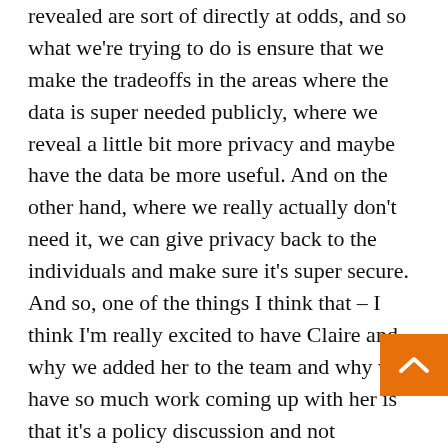revealed are sort of directly at odds, and so what we're trying to do is ensure that we make the tradeoffs in the areas where the data is super needed publicly, where we reveal a little bit more privacy and maybe have the data be more useful. And on the other hand, where we really actually don't need it, we can give privacy back to the individuals and make sure it's super secure. And so, one of the things I think that – I think I'm really excited to have Claire and why we added her to the team and why we have so much work coming up with her is that it's a policy discussion and not computer science discussion, and where this data privacy has been is in the computer science field. They're talking about here's how you protect privacy – protect privacy like this. And it's a really stringent standard for doing so, and we sort of give up all the usefulness, and now we need to actually have a conversation with both people in the room, like, I want to protect the priva great, here's the usefulness of the data, great, how do we